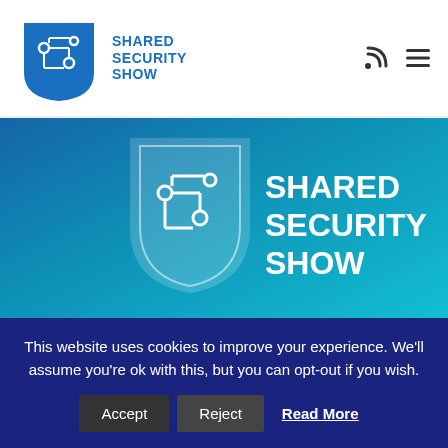Shared Security Show
[Figure (photo): Shared Security Show logo banner — blue/teal background with white circuit-board shield logo and text 'SHARED SECURITY SHOW']
EPISODES // WEEKLY EDITION
THE BIG TWITTER HACK, CRITICAL WINDOWS DNS SERVER UPDATE, EMAIL IMPERSONATION ATTACKS
by Tom Eston // July 20, 2020
This website uses cookies to improve your experience. We'll assume you're ok with this, but you can opt-out if you wish.